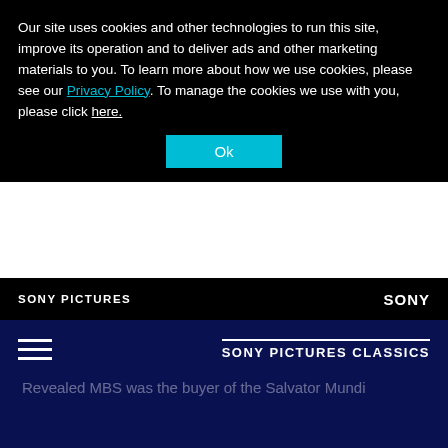Our site uses cookies and other technologies to run this site, improve its operation and to deliver ads and other marketing materials to you. To learn more about how we use cookies, please see our Privacy Policy. To manage the cookies we use with you, please click here.
Ok
SONY PICTURES   SONY
SONY PICTURES CLASSICS
Revealed MBS was the buyer of the Salvator Mundi following the Christie's auction.
ROBERT KING WITTMAN – Founder of the FBI Art Crime Team (USA)
Wittman was one of the FBI's top investigators in cases involving art theft and art fraud.
DOUG PATTESON – ex-CIA (USA)